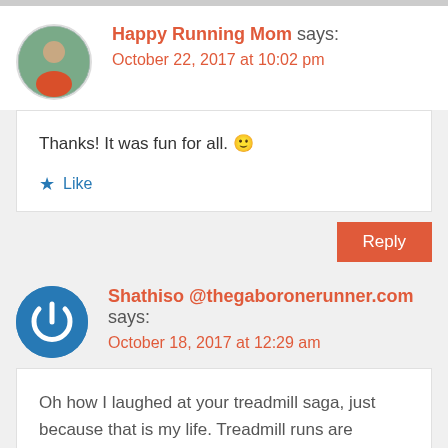Happy Running Mom says: October 22, 2017 at 10:02 pm
Thanks! It was fun for all. 🙂
Like
Reply
Shathiso @thegaboronerunner.com says: October 18, 2017 at 12:29 am
Oh how I laughed at your treadmill saga, just because that is my life. Treadmill runs are